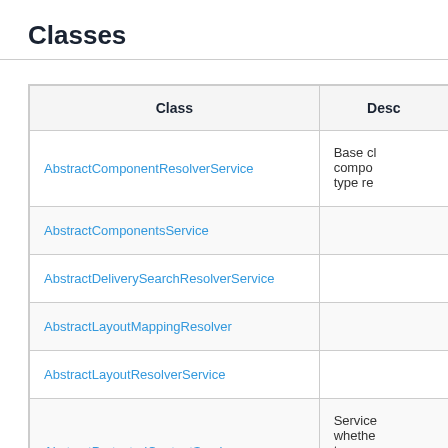Classes
| Class | Desc |
| --- | --- |
| AbstractComponentResolverService | Base cl
compo
type re |
| AbstractComponentsService |  |
| AbstractDeliverySearchResolverService |  |
| AbstractLayoutMappingResolver |  |
| AbstractLayoutResolverService |  |
| AbstractProtectedContentService | Service
whethe
to serv
protec
conten |